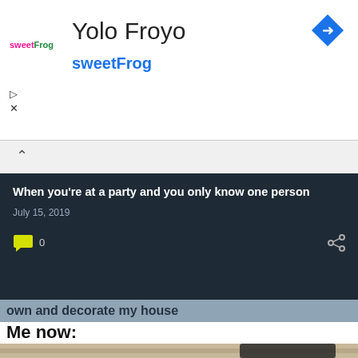[Figure (screenshot): SweetFrog frozen yogurt advertisement banner with logo, title 'Yolo Froyo', subtitle 'sweetFrog', navigation icons, and a blue diamond share icon]
Yolo Froyo
sweetFrog
When you're at a party and you only know one person
July 15, 2019
0
own and decorate my house
Me now:
[Figure (photo): Photo of a folding camping chair in a sparse room, suggesting minimal furniture]